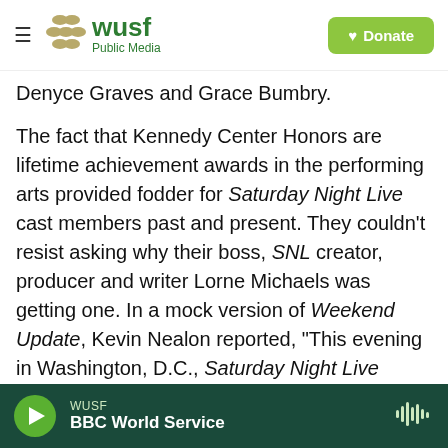WUSF Public Media — Donate
Denyce Graves and Grace Bumbry.
The fact that Kennedy Center Honors are lifetime achievement awards in the performing arts provided fodder for Saturday Night Live cast members past and present. They couldn't resist asking why their boss, SNL creator, producer and writer Lorne Michaels was getting one. In a mock version of Weekend Update, Kevin Nealon reported, "This evening in Washington, D.C., Saturday Night Live creator Lorne Michaels, who shall remain nameless, was presented with a Kennedy Center Honor in recognition of his incredibly generous
WUSF — BBC World Service